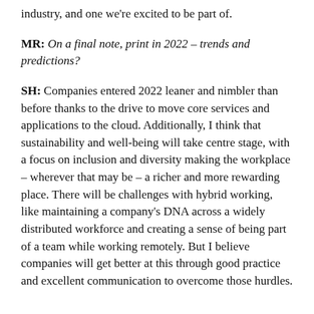industry, and one we're excited to be part of.
MR: On a final note, print in 2022 – trends and predictions?
SH: Companies entered 2022 leaner and nimbler than before thanks to the drive to move core services and applications to the cloud. Additionally, I think that sustainability and well-being will take centre stage, with a focus on inclusion and diversity making the workplace – wherever that may be – a richer and more rewarding place. There will be challenges with hybrid working, like maintaining a company's DNA across a widely distributed workforce and creating a sense of being part of a team while working remotely. But I believe companies will get better at this through good practice and excellent communication to overcome those hurdles.